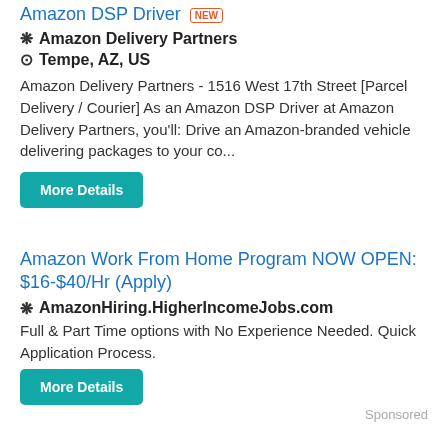Amazon DSP Driver NEW
❋ Amazon Delivery Partners
⊙ Tempe, AZ, US
Amazon Delivery Partners - 1516 West 17th Street [Parcel Delivery / Courier] As an Amazon DSP Driver at Amazon Delivery Partners, you'll: Drive an Amazon-branded vehicle delivering packages to your co...
More Details
Amazon Work From Home Program NOW OPEN: $16-$40/Hr (Apply)
❋ AmazonHiring.HigherIncomeJobs.com
Full & Part Time options with No Experience Needed. Quick Application Process.
More Details
Sponsored
Gopuff Delivery Gigs NEW